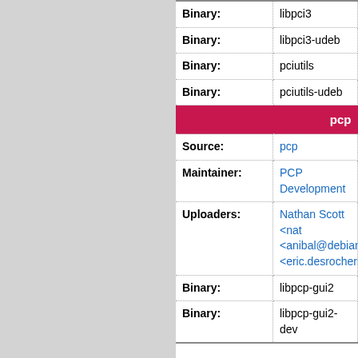| Field | Value |
| --- | --- |
| Binary: | libpci3 |
| Binary: | libpci3-udeb |
| Binary: | pciutils |
| Binary: | pciutils-udeb |
| SECTION | pcp |
| Source: | pcp |
| Maintainer: | PCP Development |
| Uploaders: | Nathan Scott <nat... <anibal@debian.o... <eric.desrochers@... |
| Binary: | libpcp-gui2 |
| Binary: | libpcp-gui2-dev |